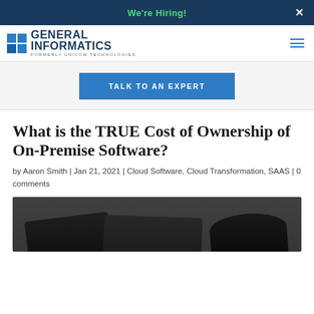We're Hiring!
[Figure (logo): General Informatics logo with blue grid icon and text 'GENERAL INFORMATICS FORMERLY UNICOM TECHNOLOGIES']
TALK TO AN EXPERT
What is the TRUE Cost of Ownership of On-Premise Software?
by Aaron Smith | Jan 21, 2021 | Cloud Software, Cloud Transformation, SAAS | 0 comments
[Figure (photo): Dark hardware devices on a white background, partially cropped]